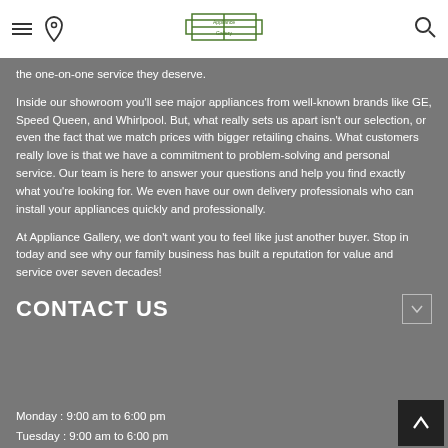Appliance Gallery - navigation header with menu, location, logo, and search icons
the one-on-one service they deserve.
Inside our showroom you'll see major appliances from well-known brands like GE, Speed Queen, and Whirlpool. But, what really sets us apart isn't our selection, or even the fact that we match prices with bigger retailing chains. What customers really love is that we have a commitment to problem-solving and personal service. Our team is here to answer your questions and help you find exactly what you're looking for. We even have our own delivery professionals who can install your appliances quickly and professionally.
At Appliance Gallery, we don't want you to feel like just another buyer. Stop in today and see why our family business has built a reputation for value and service over seven decades!
CONTACT US
Monday : 9:00 am to 6:00 pm
Tuesday : 9:00 am to 6:00 pm